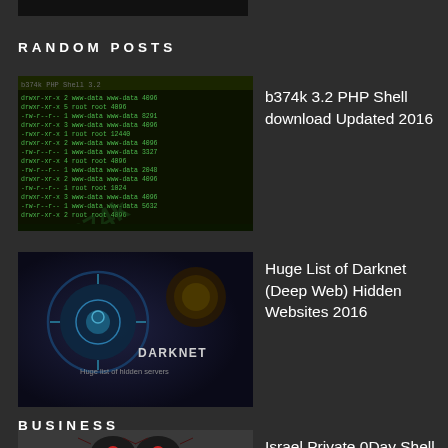[Figure (screenshot): Partial dark screenshot thumbnail at top]
RANDOM POSTS
[Figure (screenshot): Dark terminal/hacking tool screenshot with green text on dark background]
b374k 3.2 PHP Shell download Updated 2016
[Figure (screenshot): Darknet hidden websites promotional image with blue circle logo and text 'DARKNET Huge list of hidden servers']
Huge List of Darknet (Deep Web) Hidden Websites 2016
[Figure (illustration): Laptop with biohazard symbol on red screen, evil eyes icon above]
Israel Private 0Day Shell Upload Exploits ASP|PHP
BUSINESS